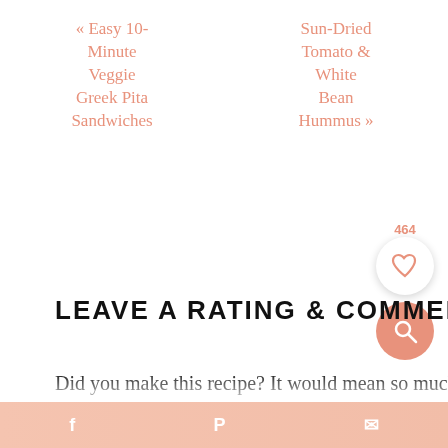« Easy 10-Minute Veggie Greek Pita Sandwiches
Sun-Dried Tomato & White Bean Hummus »
LEAVE A RATING & COMMENT
Did you make this recipe? It would mean so much if you take a moment to leave a star rating and comment. It helps others when searching for...
f  p  [share icon]